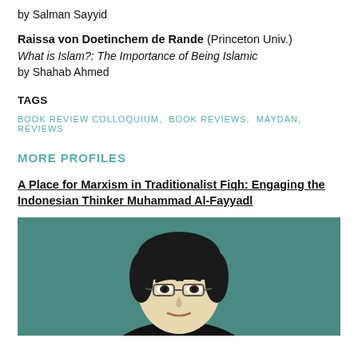by Salman Sayyid
Raissa von Doetinchem de Rande (Princeton Univ.)
What is Islam?: The Importance of Being Islamic
by Shahab Ahmed
TAGS
BOOK REVIEW COLLOQUIUM, BOOK REVIEWS, MAYDAN, REVIEWS
MORE PROFILES
A Place for Marxism in Traditionalist Fiqh: Engaging the Indonesian Thinker Muhammad Al-Fayyadl
[Figure (illustration): Illustrated portrait of a man with black hair, glasses, and a black shirt against a teal/green background]